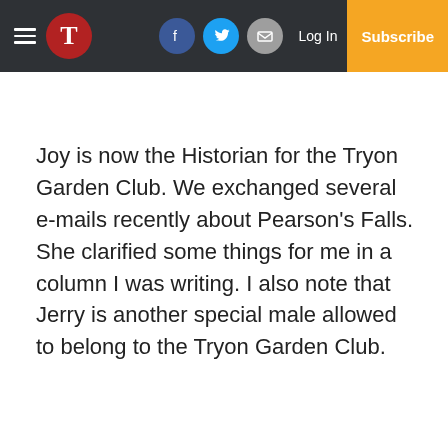Tryon Daily Bulletin website header with navigation: hamburger menu, T logo, Facebook, Twitter, Email icons, Log In, Subscribe
Joy is now the Historian for the Tryon Garden Club. We exchanged several e-mails recently about Pearson’s Falls. She clarified some things for me in a column I was writing. I also note that Jerry is another special male allowed to belong to the Tryon Garden Club.